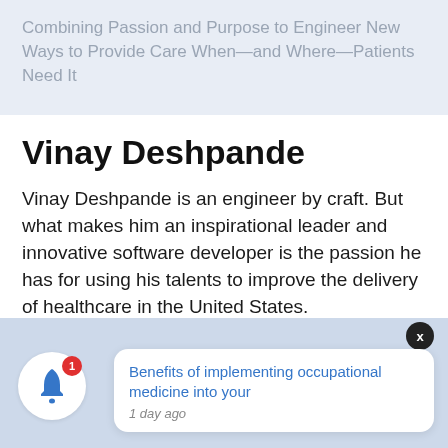Combining Passion and Purpose to Engineer New Ways to Provide Care When—and Where—Patients Need It
Vinay Deshpande
Vinay Deshpande is an engineer by craft. But what makes him an inspirational leader and innovative software developer is the passion he has for using his talents to improve the delivery of healthcare in the United States.
As chief executive officer of Bizmatics, a leading electronic medical record and telehealth provider
[Figure (screenshot): Notification popup overlay showing a bell icon with red badge showing '1', and a white card with blue link text 'Benefits of implementing occupational medicine into your' and italic grey text '1 day ago'. A dark close button with 'x' appears top right of the notification.]